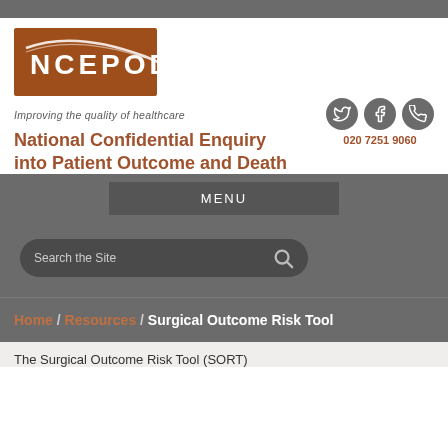[Figure (logo): NCEPOD logo - brown/rust colored rectangle with white arc design and NCEPOD text in white]
Improving the quality of healthcare
National Confidential Enquiry into Patient Outcome and Death
020 7251 9060
MENU
Search the Site
Home / Resources / Surgical Outcome Risk Tool
The Surgical Outcome Risk Tool (SORT)